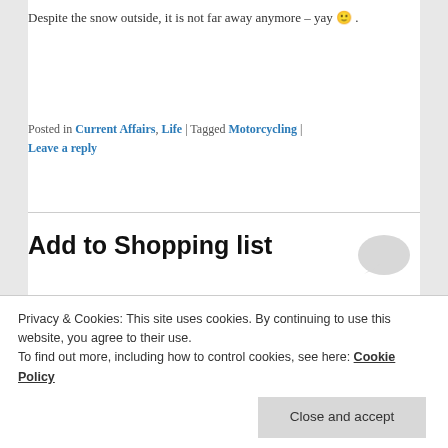Despite the snow outside, it is not far away anymore – yay 🙂 .
Posted in Current Affairs, Life | Tagged Motorcycling | Leave a reply
Add to Shopping list
Posted on Thursday, 18 February, 2010
[Figure (screenshot): Product screenshot showing Blouson moto RICHA ANJA Bleu with product image, Description label, and RICHA logo]
Privacy & Cookies: This site uses cookies. By continuing to use this website, you agree to their use.
To find out more, including how to control cookies, see here: Cookie Policy